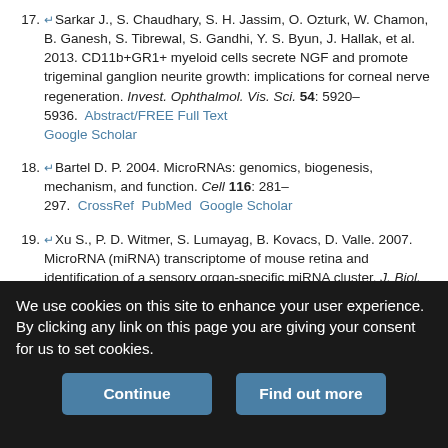17. Sarkar J., S. Chaudhary, S. H. Jassim, O. Ozturk, W. Chamon, B. Ganesh, S. Tibrewal, S. Gandhi, Y. S. Byun, J. Hallak, et al. 2013. CD11b+GR1+ myeloid cells secrete NGF and promote trigeminal ganglion neurite growth: implications for corneal nerve regeneration. Invest. Ophthalmol. Vis. Sci. 54: 5920–5936. Abstract/FREE Full Text Google Scholar
18. Bartel D. P. 2004. MicroRNAs: genomics, biogenesis, mechanism, and function. Cell 116: 281–297. CrossRef PubMed Google Scholar
19. Xu S., P. D. Witmer, S. Lumayag, B. Kovacs, D. Valle. 2007. MicroRNA (miRNA) transcriptome of mouse retina and identification of a sensory organ-specific miRNA cluster. J. Biol. Chem. 282: 25053–25066. Abstract/FREE Full Text Google Scholar
20. Lumayag S., C. E. Haldin, N. J. Corbett, K. J. Wahlin, C. Cowan, S.
We use cookies on this site to enhance your user experience. By clicking any link on this page you are giving your consent for us to set cookies.